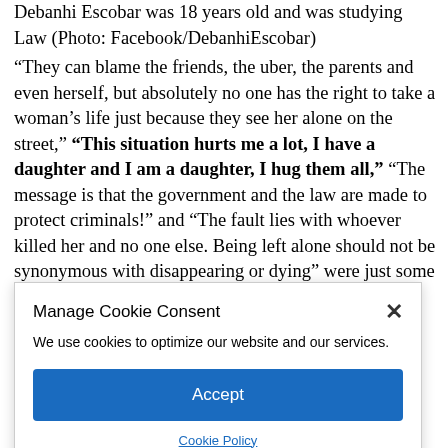Debanhi Escobar was 18 years old and was studying Law (Photo: Facebook/DebanhiEscobar)
“They can blame the friends, the uber, the parents and even herself, but absolutely no one has the right to take a woman’s life just because they see her alone on the street,” “This situation hurts me a lot, I have a daughter and I am a daughter, I hug them all,” “The message is that the government and the law are made to protect criminals!” and “The fault lies with whoever killed her and no one else. Being left alone should not be synonymous with disappearing or dying” were just some of the comments that could be read in the publication of…
We use cookies to optimize our website and our services.
Accept
Cookie Policy
On the other hand, this Saturday, April 23, other celebrities also shared their pain and outrage at the Debanhi case. Through her Instagram account, Rebecca Jones published a message very similar to … Tellez.